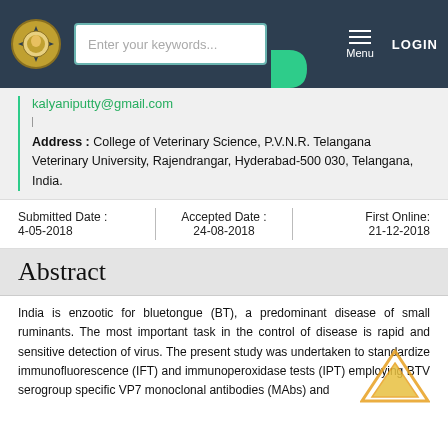Enter your keywords... Menu LOGIN
kalyaniputty@gmail.com
Address : College of Veterinary Science, P.V.N.R. Telangana Veterinary University, Rajendrangar, Hyderabad-500 030, Telangana, India.
| Submitted Date : | Accepted Date : | First Online: |
| --- | --- | --- |
| 4-05-2018 | 24-08-2018 | 21-12-2018 |
Abstract
India is enzootic for bluetongue (BT), a predominant disease of small ruminants. The most important task in the control of disease is rapid and sensitive detection of virus. The present study was undertaken to standardize immunofluorescence (IFT) and immunoperoxidase tests (IPT) employing BTV serogroup specific VP7 monoclonal antibodies (MAbs) and...